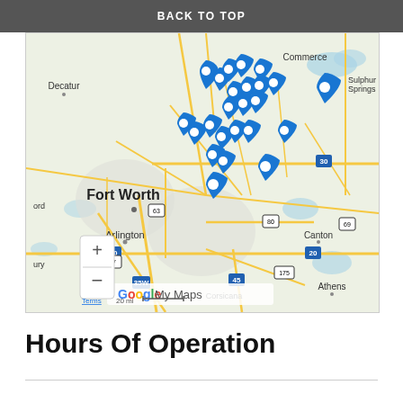BACK TO TOP
[Figure (map): Google My Maps showing the Dallas-Fort Worth metro area in Texas with multiple blue location pin markers clustered around the Dallas area, including suburbs like Frisco, Allen, Plano, Arlington. Map labels include Fort Worth, Arlington, Dallas, Commerce, Sulphur Springs, Canton, Athens, Corsicana, Decatur. Highway markers visible: 30, 20, 69, 80, 35W, 45, 175, 287, 63. Scale bar shows 20 mi. Google My Maps branding shown at bottom.]
Hours Of Operation